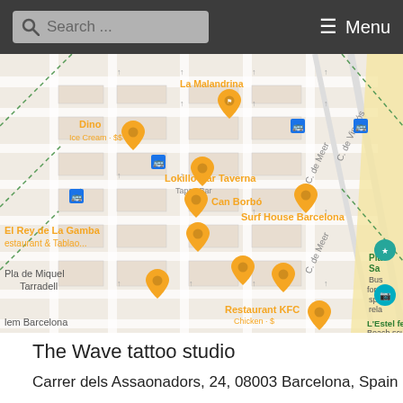Search ... Menu
[Figure (map): Google Maps screenshot showing a Barcelona neighborhood with restaurant pins (orange map markers with fork/knife icon) at La Malandrina, Dino Ice Cream, Lokillo Bar Taverna (Tapas Bar), Can Borbó, Surf House Barcelona, El Rey de La Gamba Restaurant & Tablao..., Pla de Miquel Tarradell, Restaurant KFC (Chicken + $), L'Estel ferit (Beach sculpt...), Pla Sa... (Bus for v spo rela). Streets visible: C. de Meer, C. de Vinarós. Blue bus stop icons also shown. Sandy beach area at right.]
The Wave tattoo studio
Carrer dels Assaonadors, 24, 08003 Barcelona, Spain